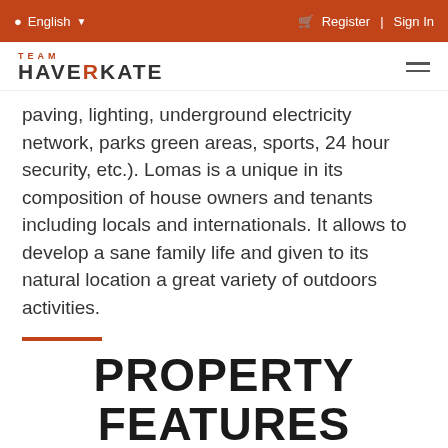English | Register | Sign In
[Figure (logo): Team Haverkate logo with orange R letter]
paving, lighting, underground electricity network, parks green areas, sports, 24 hour security, etc.). Lomas is a unique in its composition of house owners and tenants including locals and internationals. It allows to develop a sane family life and given to its natural location a great variety of outdoors activities.
PROPERTY FEATURES